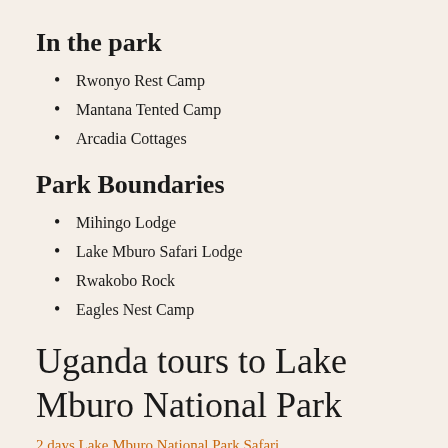In the park
Rwonyo Rest Camp
Mantana Tented Camp
Arcadia Cottages
Park Boundaries
Mihingo Lodge
Lake Mburo Safari Lodge
Rwakobo Rock
Eagles Nest Camp
Uganda tours to Lake Mburo National Park
2 days Lake Mburo National Park Safari
2 Days Uganda Culture and Gorilla Safari